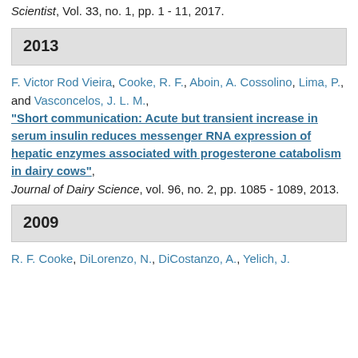Scientist, Vol. 33, no. 1, pp. 1 - 11, 2017.
2013
F. Victor Rod Vieira, Cooke, R. F., Aboin, A. Cossolino, Lima, P., and Vasconcelos, J. L. M., "Short communication: Acute but transient increase in serum insulin reduces messenger RNA expression of hepatic enzymes associated with progesterone catabolism in dairy cows", Journal of Dairy Science, vol. 96, no. 2, pp. 1085 - 1089, 2013.
2009
R. F. Cooke, DiLorenzo, N., DiCostanzo, A., Yelich, J.